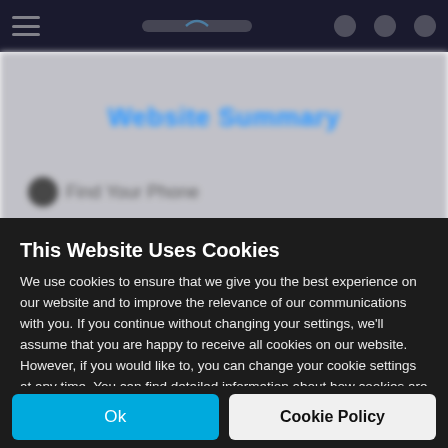[Figure (screenshot): Dark navigation bar at top of a website with hamburger menu icon, logo, and icons on the right]
[Figure (screenshot): Blurred website background showing a blue heading and sub-navigation element]
This Website Uses Cookies
We use cookies to ensure that we give you the best experience on our website and to improve the relevance of our communications with you. If you continue without changing your settings, we'll assume that you are happy to receive all cookies on our website. However, if you would like to, you can change your cookie settings at any time. You can find detailed information about how cookies are used on this website by clicking Cookie Policy.
Ok
Cookie Policy